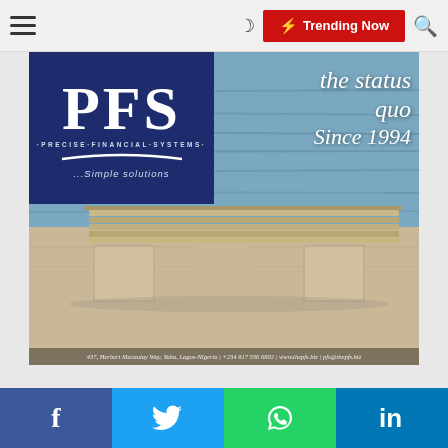☰  🌙  ⚡ Trending Now  🔍
[Figure (logo): PFS (Precise Financial Systems) advertisement banner. Navy blue logo box with large white PFS letters, tagline '·PRECISE·FINANCIAL·SYSTEMS·', a curved white swoosh, and text '...Simple solutions'. Background shows a waterfront bench scene. Text overlay reads 'the status quo Since 1994' in white italic. Footer: '437, Herbert Macaulay Way, Yaba, Lagos-Nigeria | +234 817 536 6802 | www.thepfs.biz | pfs@thepfs.biz']
f  🐦  WhatsApp  in